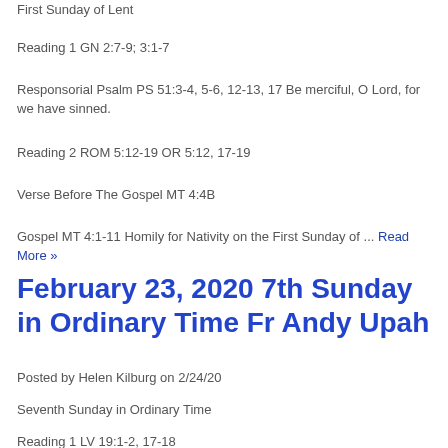First Sunday of Lent
Reading 1 GN 2:7-9; 3:1-7
Responsorial Psalm PS 51:3-4, 5-6, 12-13, 17 Be merciful, O Lord, for we have sinned.
Reading 2 ROM 5:12-19 OR 5:12, 17-19
Verse Before The Gospel MT 4:4B
Gospel MT 4:1-11 Homily for Nativity on the First Sunday of ... Read More »
February 23, 2020 7th Sunday in Ordinary Time Fr Andy Upah
Posted by Helen Kilburg on 2/24/20
Seventh Sunday in Ordinary Time
Reading 1 LV 19:1-2, 17-18